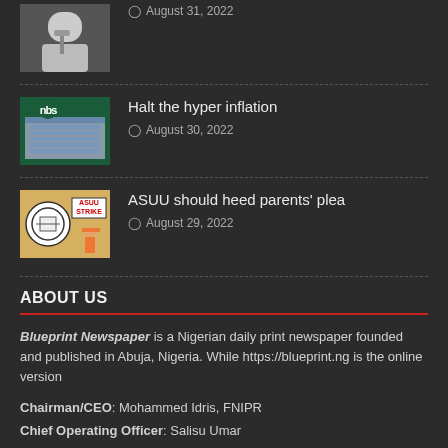[Figure (photo): Thumbnail photo of a person at a microphone]
August 31, 2022
[Figure (photo): NBS building thumbnail with green logo]
Halt the hyper inflation
August 30, 2022
[Figure (photo): ASUU strike illustration thumbnail]
ASUU should heed parents' plea
August 29, 2022
ABOUT US
Blueprint Newspaper is a Nigerian daily print newspaper founded and published in Abuja, Nigeria. While https://blueprint.ng is the online version
Chairman/CEO: Mohammed Idris, FNIPR
Chief Operating Officer: Salisu Umar